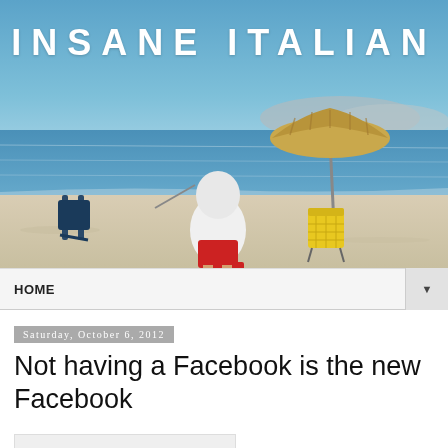[Figure (photo): Beach scene with a person in white hoodie and red shorts standing at the water's edge, a folding chair, and a straw beach umbrella with a yellow cooler underneath. Blue sky and water in the background.]
INSANE ITALIAN
HOME
Saturday, October 6, 2012
Not having a Facebook is the new Facebook